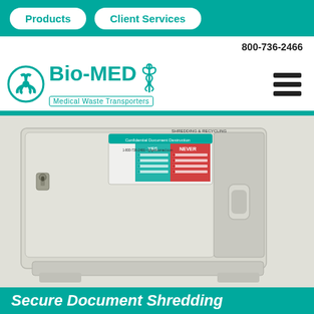Products | Client Services
800-736-2466
[Figure (logo): Bio-MED Medical Waste Transporters logo with biohazard symbol and caduceus, teal color]
[Figure (photo): Gray secure document shredding cabinet/container with a lock on the left side, a handle on the right side, and a label with YES/NEVER disposal information on the top front]
Secure Document Shredding